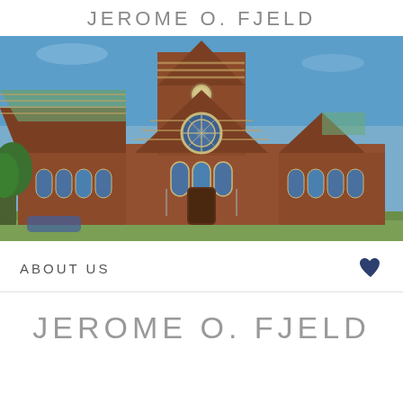JEROME O. FJELD
[Figure (photo): Exterior photograph of a large Victorian Gothic red brick university building with ornate stone trim, arched windows, a large rose window, steep decorative gabled rooflines with green copper trim, and a tall central clock tower under a blue sky.]
ABOUT US
JEROME O. FJELD